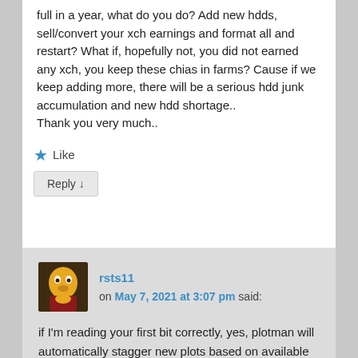full in a year, what do you do? Add new hdds, sell/convert your xch earnings and format all and restart? What if, hopefully not, you did not earned any xch, you keep these chias in farms? Cause if we keep adding more, there will be a serious hdd junk accumulation and new hdd shortage.. Thank you very much..
★ Like
Reply ↓
rsts11 on May 7, 2021 at 3:07 pm said:
if I'm reading your first bit correctly, yes, plotman will automatically stagger new plots based on available resources. You set how many can run in each temp space and it spreads them out based on how